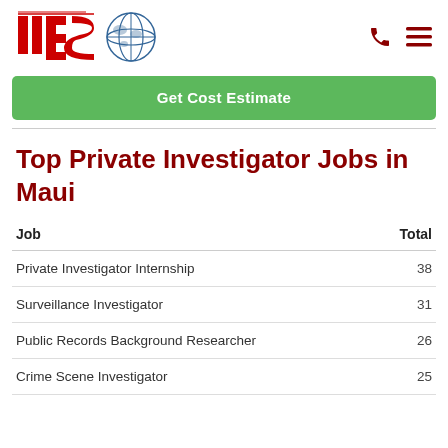[Figure (logo): ICS logo with red stylized letters and globe graphic]
Get Cost Estimate
Top Private Investigator Jobs in Maui
| Job | Total |
| --- | --- |
| Private Investigator Internship | 38 |
| Surveillance Investigator | 31 |
| Public Records Background Researcher | 26 |
| Crime Scene Investigator | 25 |